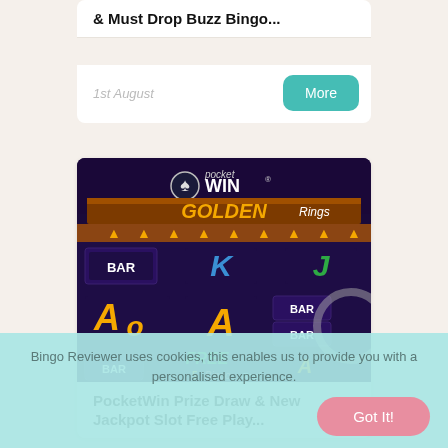& Must Drop Buzz Bingo...
1st August
[Figure (screenshot): PocketWin slot machine game screenshot showing Golden Rings slot with BAR symbols, K, J, A letters and Free 5 Bingo Reel Wild symbols on a dark purple background]
PocketWin Prize Draw & New Jackpot Slot Free Play...
Bingo Reviewer uses cookies, this enables us to provide you with a personalised experience.
Got It!